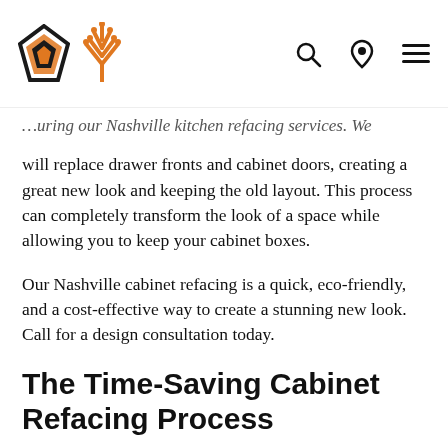[Logo] [Search icon] [Location icon] [Menu icon]
…uring our Nashville kitchen refacing services. We will replace drawer fronts and cabinet doors, creating a great new look and keeping the old layout. This process can completely transform the look of a space while allowing you to keep your cabinet boxes.
Our Nashville cabinet refacing is a quick, eco-friendly, and a cost-effective way to create a stunning new look. Call for a design consultation today.
The Time-Saving Cabinet Refacing Process
The process we use for cabinet refacing involves replacing the exterior of a cabinetry system with